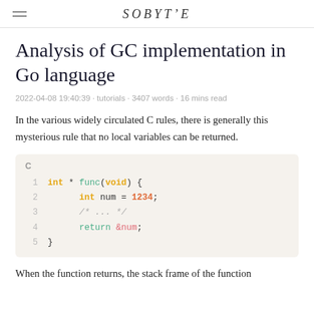SOBYTE
Analysis of GC implementation in Go language
2022-04-08 19:40:39 · tutorials · 3407 words · 16 mins read
In the various widely circulated C rules, there is generally this mysterious rule that no local variables can be returned.
[Figure (screenshot): C code block showing a function that returns a pointer to a local variable. Line 1: int * func(void) {, Line 2: int num = 1234;, Line 3: /* ... */, Line 4: return &num;, Line 5: }]
When the function returns, the stack frame of the function